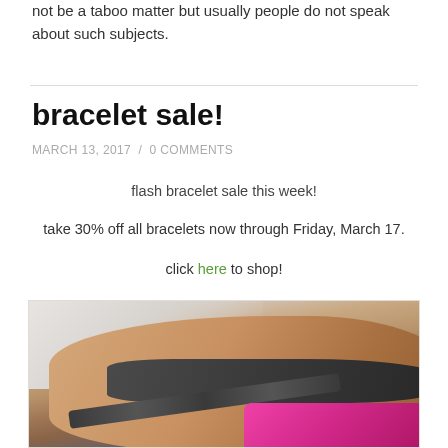not be a taboo matter but usually people do not speak about such subjects.
bracelet sale!
MARCH 13, 2017 / 0 COMMENTS
flash bracelet sale this week!
take 30% off all bracelets now through Friday, March 17.
click here to shop!
[Figure (photo): Close-up photo of a person's wrist wearing a beaded bracelet, with a bright pink/magenta element in the lower right corner]